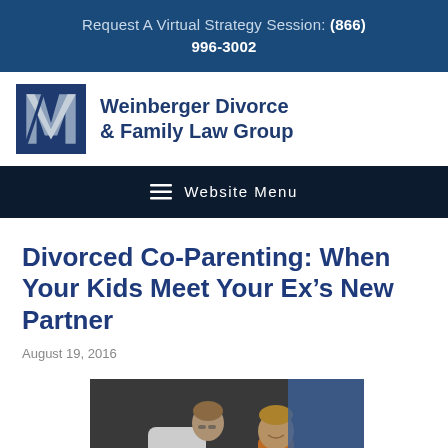Request A Virtual Strategy Session: (866) 996-3002
[Figure (logo): Weinberger Divorce & Family Law Group logo with stylized W icon in navy and grey]
Weinberger Divorce & Family Law Group
Website Menu
Divorced Co-Parenting: When Your Kids Meet Your Ex’s New Partner
August 19, 2016
[Figure (photo): A man in a white shirt leaning down to speak with a young boy in an orange shirt, against a dark grey background]